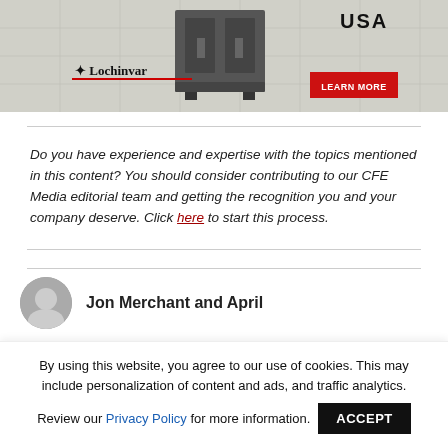[Figure (photo): Lochinvar advertisement banner showing industrial HVAC/boiler equipment on a grid background with 'USA' text, Lochinvar logo, and a red 'LEARN MORE' button]
Do you have experience and expertise with the topics mentioned in this content? You should consider contributing to our CFE Media editorial team and getting the recognition you and your company deserve. Click here to start this process.
[Figure (photo): Circular author profile photo, partially visible at bottom of page]
Jon Merchant and April
By using this website, you agree to our use of cookies. This may include personalization of content and ads, and traffic analytics. Review our Privacy Policy for more information.